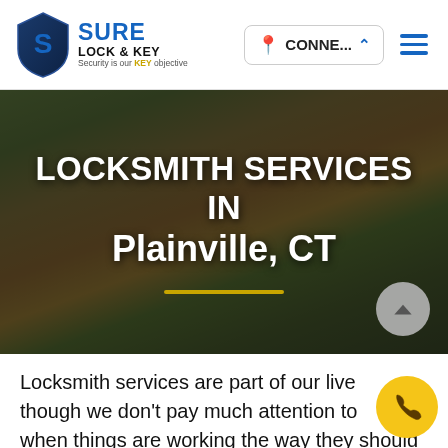[Figure (logo): Sure Lock & Key logo with shield icon and tagline 'Security is our KEY objective']
LOCKSMITH SERVICES IN Plainville, CT
[Figure (photo): Background photo of a building with trees and green lawn, darkened overlay]
Locksmith services are part of our lives even though we don't pay much attention to them when things are working the way they should